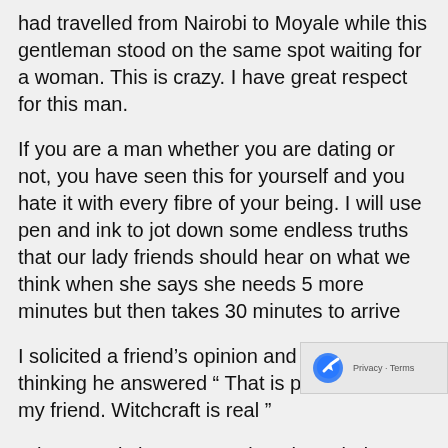had travelled from Nairobi to Moyale while this gentleman stood on the same spot waiting for a woman. This is crazy. I have great respect for this man.
If you are a man whether you are dating or not, you have seen this for yourself and you hate it with every fibre of your being. I will use pen and ink to jot down some endless truths that our lady friends should hear on what we think when she says she needs 5 more minutes but then takes 30 minutes to arrive
I solicited a friend's opinion and without thinking he answered “ That is plain witchcraft my friend. Witchcraft is real ”
What exactly happens to time that a lady's 5 m willoint half on 2 it that